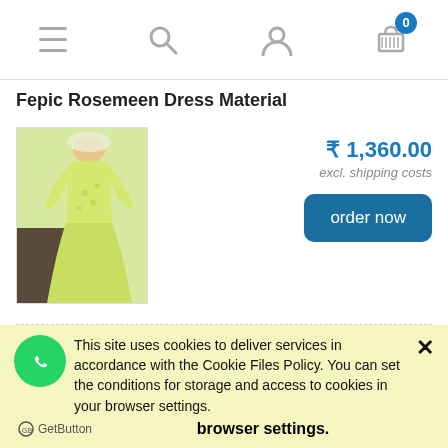[Figure (screenshot): Mobile app navigation bar with hamburger menu, search, user, and cart icons. Cart shows badge with 0.]
Fepic Rosemeen Dress Material
[Figure (photo): Woman wearing light yellow/green dress material (sharara/kurti set)]
₹ 1,360.00
excl. shipping costs
order now
Fepic Rosemeen Dress Material
[Figure (photo): Product image showing Fepic brand dress material with model]
₹ 1,310.00
excl. shipping costs
This site uses cookies to deliver services in accordance with the Cookie Files Policy. You can set the conditions for storage and access to cookies in your browser settings.